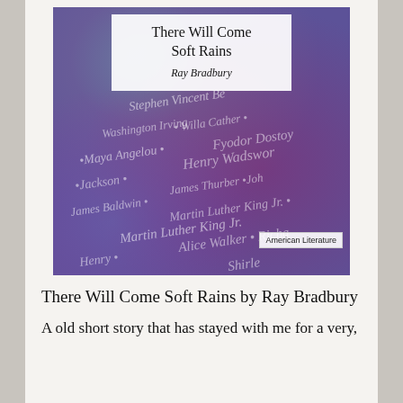[Figure (illustration): Book cover of 'There Will Come Soft Rains' by Ray Bradbury. The cover features a colorful watercolor-style background with blended yellows, oranges, reds, purples, and blues. Author names are written in cursive script across the background including Stephen Vincent Benet, Willa Cather, Washington Irving, Fyodor Dostoy, Maya Angelou, Henry Wadswor, Jackson, James Thurber, Joh, James Baldwin, Martin Luther King Jr., Alice Walker, Richard, Henry, and Shirle. A white semi-transparent box at the top contains the title and author name. An 'American Literature' badge appears near the bottom right.]
There Will Come Soft Rains by Ray Bradbury
A old short story that has stayed with me for a very,